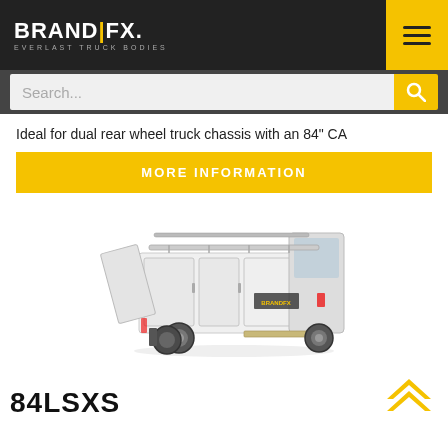BRAND|FX. EVERLAST TRUCK BODIES
Ideal for dual rear wheel truck chassis with an 84" CA
MORE INFORMATION
[Figure (photo): Rear three-quarter view of a white service truck body (BrandFX 84LSXS) mounted on a chassis, showing compartment doors open and ladder rack]
84LSXS